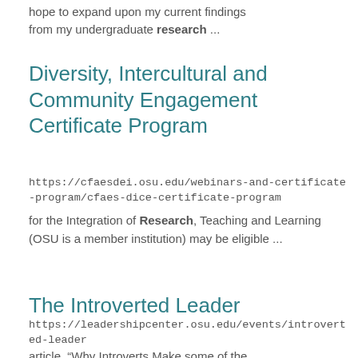hope to expand upon my current findings from my undergraduate research ...
Diversity, Intercultural and Community Engagement Certificate Program
https://cfaesdei.osu.edu/webinars-and-certificate-program/cfaes-dice-certificate-program
for the Integration of Research, Teaching and Learning (OSU is a member institution) may be eligible ...
The Introverted Leader
https://leadershipcenter.osu.edu/events/introverted-leader
article, “Why Introverts Make some of the